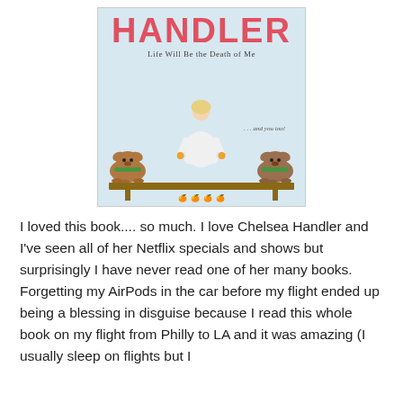[Figure (illustration): Book cover of 'Life Will Be the Death of Me ... and you too!' by Chelsea Handler. Shows a blonde woman in white sitting cross-legged on a bench flanked by two large dogs wearing green bandanas. Red bold title 'HANDLER' at top, subtitle in black below. Light blue/grey background.]
I loved this book.... so much. I love Chelsea Handler and I've seen all of her Netflix specials and shows but surprisingly I have never read one of her many books. Forgetting my AirPods in the car before my flight ended up being a blessing in disguise because I read this whole book on my flight from Philly to LA and it was amazing (I usually sleep on flights but I